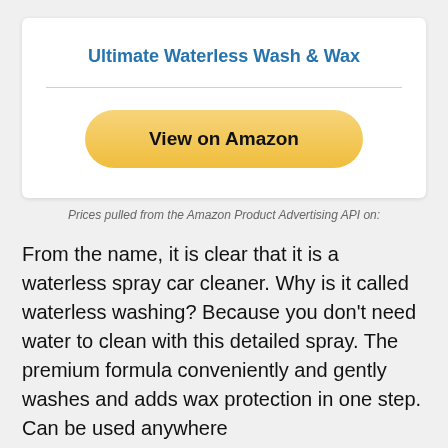Ultimate Waterless Wash & Wax
[Figure (other): Yellow rounded button labeled 'View on Amazon']
Prices pulled from the Amazon Product Advertising API on:
From the name, it is clear that it is a waterless spray car cleaner. Why is it called waterless washing? Because you don’t need water to clean with this detailed spray. The premium formula conveniently and gently washes and adds wax protection in one step. Can be used anywhere